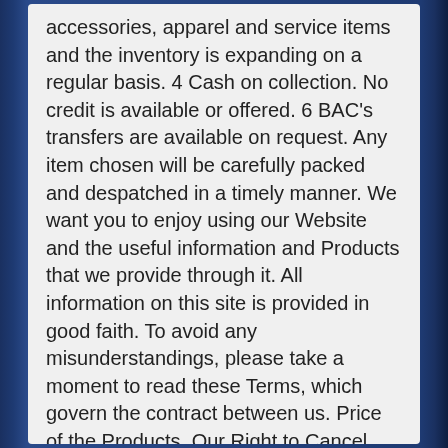accessories, apparel and service items and the inventory is expanding on a regular basis. 4 Cash on collection. No credit is available or offered. 6 BAC’s transfers are available on request. Any item chosen will be carefully packed and despatched in a timely manner. We want you to enjoy using our Website and the useful information and Products that we provide through it. All information on this site is provided in good faith. To avoid any misunderstandings, please take a moment to read these Terms, which govern the contract between us. Price of the Products. Our Right to Cancel. Notices, Enquiries and Complaints. In these terms and conditions (“the Terms”) unless the context otherwise requires, the following words and phrases shall have the following meanings. Product Details 2.1. The Products displayed on this Website are not shown to actual size nor are their images binding as to detail. Some Products may appear slightly larger or smaller